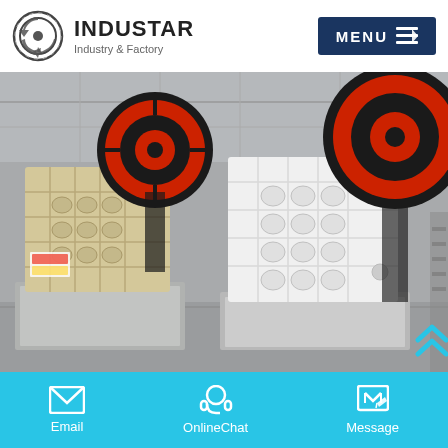INDUSTAR — Industry & Factory
[Figure (photo): Two large industrial jaw crushers with red and black flywheels mounted on concrete bases inside a factory/industrial facility. Machines are beige/white with gridded structural frames.]
Email | OnlineChat | Message